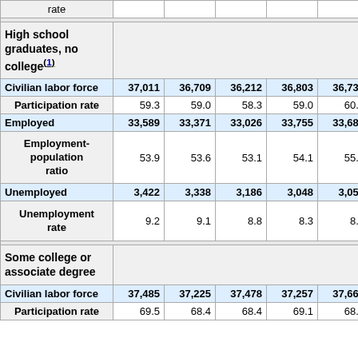|  | Col1 | Col2 | Col3 | Col4 | Col5 | Col6 | Col7+ |
| --- | --- | --- | --- | --- | --- | --- | --- |
| rate |  |  |  |  |  |  |  |
| High school graduates, no college(1) |  |  |  |  |  |  |  |
| Civilian labor force | 37,011 | 36,709 | 36,212 | 36,803 | 36,735 | 36,652 | 3... |
| Participation rate | 59.3 | 59.0 | 58.3 | 59.0 | 60.0 | 59.4 |  |
| Employed | 33,589 | 33,371 | 33,026 | 33,755 | 33,681 | 33,677 | 3... |
| Employment-population ratio | 53.9 | 53.6 | 53.1 | 54.1 | 55.0 | 54.6 |  |
| Unemployed | 3,422 | 3,338 | 3,186 | 3,048 | 3,054 | 2,975 |  |
| Unemployment rate | 9.2 | 9.1 | 8.8 | 8.3 | 8.3 | 8.1 |  |
| Some college or associate degree |  |  |  |  |  |  |  |
| Civilian labor force | 37,485 | 37,225 | 37,478 | 37,257 | 37,662 | 37,274 | 3... |
| Participation rate | 69.5 | 68.4 | 68.4 | 69.1 | 68.8 | 68.4 |  |